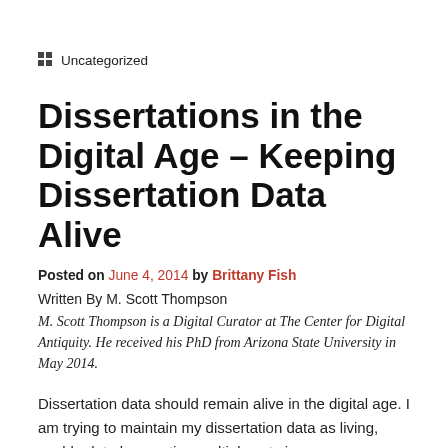Uncategorized
Dissertations in the Digital Age – Keeping Dissertation Data Alive
Posted on June 4, 2014 by Brittany Fish
Written By M. Scott Thompson
M. Scott Thompson is a Digital Curator at The Center for Digital Antiquity. He received his PhD from Arizona State University in May 2014.
Dissertation data should remain alive in the digital age. I am trying to maintain my dissertation data as living, usable data by curating multiple sets in a